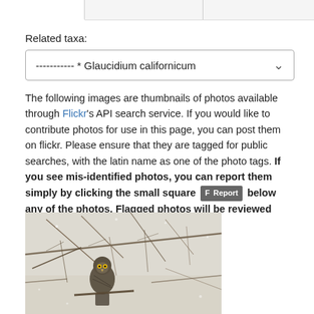Related taxa:
----------- * Glaucidium californicum
The following images are thumbnails of photos available through Flickr's API search service. If you would like to contribute photos for use in this page, you can post them on flickr. Please ensure that they are tagged for public searches, with the latin name as one of the photo tags. If you see mis-identified photos, you can report them simply by clicking the small square [F Report] below any of the photos. Flagged photos will be reviewed before they are removed.
[Figure (photo): Photograph of a small owl (likely Glaucidium californicum / Northern Pygmy-Owl) perched among bare winter branches with snow or pale background visible]